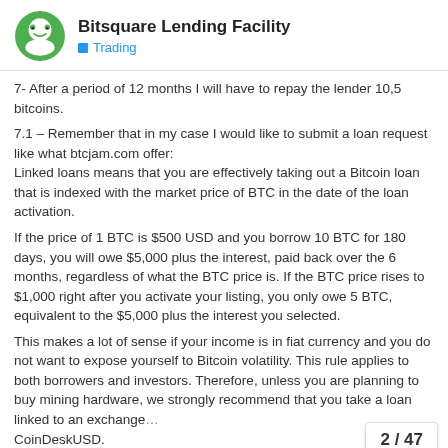Bitsquare Lending Facility — Trading
7- After a period of 12 months I will have to repay the lender 10,5 bitcoins.
7.1 – Remember that in my case I would like to submit a loan request like what btcjam.com offer:
Linked loans means that you are effectively taking out a Bitcoin loan that is indexed with the market price of BTC in the date of the loan activation.
If the price of 1 BTC is $500 USD and you borrow 10 BTC for 180 days, you will owe $5,000 plus the interest, paid back over the 6 months, regardless of what the BTC price is. If the BTC price rises to $1,000 right after you activate your listing, you only owe 5 BTC, equivalent to the $5,000 plus the interest you selected.
This makes a lot of sense if your income is in fiat currency and you do not want to expose yourself to Bitcoin volatility. This rule applies to both borrowers and investors. Therefore, unless you are planning to buy mining hardware, we strongly recommend that you take a loan linked to an exchange... CoinDeskUSD.
2 / 47